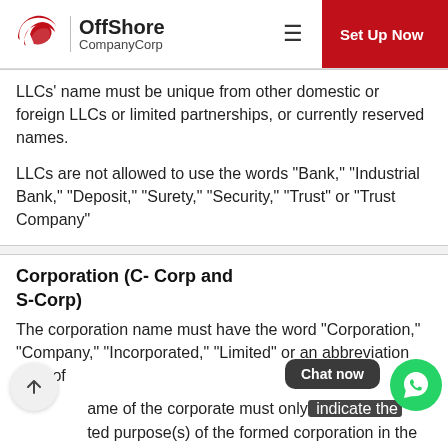OffShore CompanyCorp
LLCs’ name must be unique from other domestic or foreign LLCs or limited partnerships, or currently reserved names.
LLCs are not allowed to use the words “Bank,” “Industrial Bank,” “Deposit,” “Surety,” “Security,” “Trust” or “Trust Company”
Corporation (C- Corp and S-Corp)
The corporation name must have the word “Corporation,” “Company,” “Incorporated,” “Limited” or an abbreviation thereof
ame of the corporate must only indicate the ted purpose(s) of the formed corporation in the Articles of Incorporation